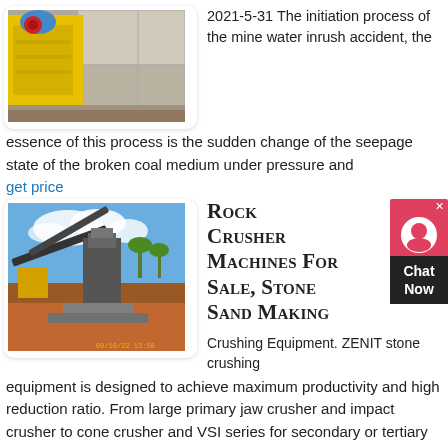[Figure (photo): Yellow jaw crusher machine next to large concrete/stone blocks at a mining site]
2021-5-31   The initiation process of the mine water inrush accident, the essence of this process is the sudden change of the seepage state of the broken coal medium under pressure and
get price
[Figure (photo): Rock crusher plant facility with conveyor belts, machinery, and red soil ground under partly cloudy blue sky with palm trees in background]
Rock Crusher Machines For Sale, Stone Sand Making
Crushing Equipment. ZENIT stone crushing equipment is designed to achieve maximum productivity and high reduction ratio. From large primary jaw crusher and impact crusher to cone crusher and VSI series for secondary or tertiary